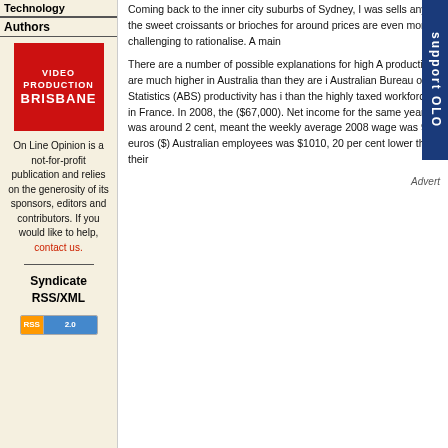Technology
Authors
[Figure (logo): Video Production Brisbane red logo]
On Line Opinion is a not-for-profit publication and relies on the generosity of its sponsors, editors and contributors. If you would like to help, contact us.
Syndicate RSS/XML
[Figure (other): RSS 2.0 badge]
Coming back to the inner city suburbs of Sydney, I was sells any of the sweet croissants or brioches for around prices are even more challenging to rationalise. A main
There are a number of possible explanations for high A production are much higher in Australia than they are i Australian Bureau of Statistics (ABS) productivity has i than the highly taxed workforce in France. In 2008, the ($67,000). Net income for the same year was around 2 cent, meant the weekly average 2008 wage was 900 euros ($) Australian employees was $1010, 20 per cent lower than their
Advert